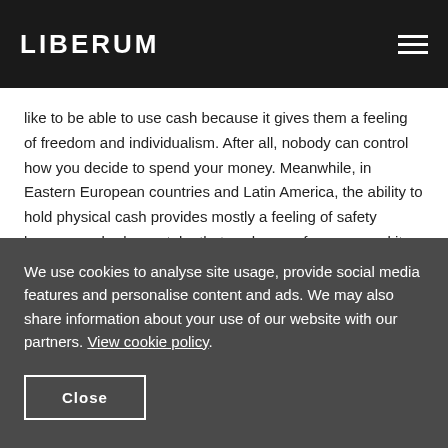LIBERUM
like to be able to use cash because it gives them a feeling of freedom and individualism. After all, nobody can control how you decide to spend your money. Meanwhile, in Eastern European countries and Latin America, the ability to hold physical cash provides mostly a feeling of safety because nobody can take that cash away from you and it has a stable (nominal) value. Given the history and political situation in many of these
We use cookies to analyse site usage, provide social media features and personalise content and ads. We may also share information about your use of our website with our partners. View cookie policy.
Close